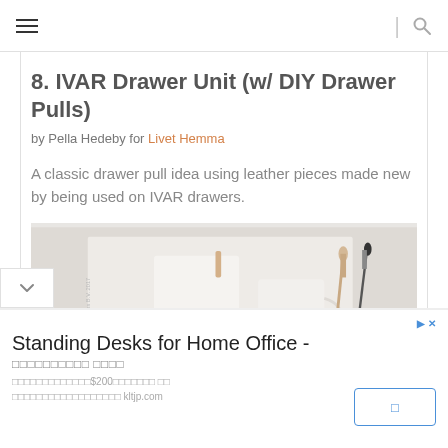☰  |  🔍
8. IVAR Drawer Unit (w/ DIY Drawer Pulls)
by Pella Hedeby for Livet Hemma
A classic drawer pull idea using leather pieces made new by being used on IVAR drawers.
[Figure (photo): Photo of a white object labeled D.I.Y. IVAR with paintbrushes, on a light background. Vertical watermark text on left side.]
Standing Desks for Home Office - □□□□□□□□□□ □□□□  □□□□□□□□□□□□□$200□□□□□□□ □□ □□□□□□□□□□□□□□□□□□ kltjp.com